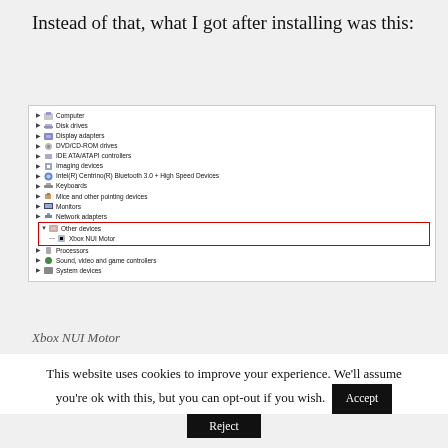Instead of that, what I got after installing was this:
[Figure (screenshot): Windows Device Manager screenshot showing a tree list of hardware categories. The 'Other devices' entry is expanded, showing 'Xbox NUI Motor' beneath it. Both 'Other devices' and 'Xbox NUI Motor' are highlighted inside a red rectangle border.]
Xbox NUI Motor
This website uses cookies to improve your experience. We'll assume you're ok with this, but you can opt-out if you wish.
Accept
Reject